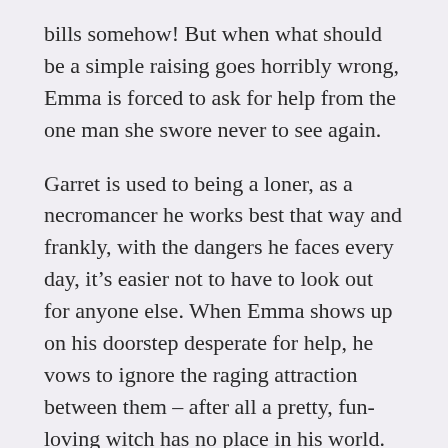bills somehow! But when what should be a simple raising goes horribly wrong, Emma is forced to ask for help from the one man she swore never to see again.
Garret is used to being a loner, as a necromancer he works best that way and frankly, with the dangers he faces every day, it’s easier not to have to look out for anyone else. When Emma shows up on his doorstep desperate for help, he vows to ignore the raging attraction between them – after all a pretty, fun-loving witch has no place in his world.
Now Emma and Garret will need to put aside old resentments in order to try